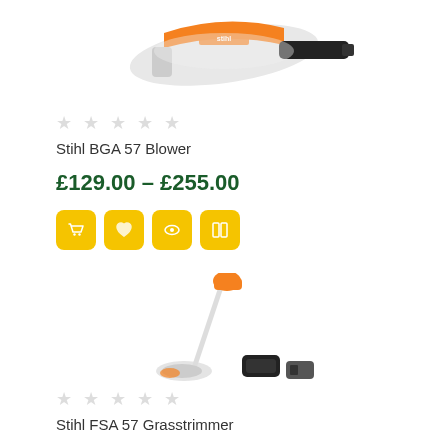[Figure (photo): Stihl BGA 57 Blower product image - cordless leaf blower with orange and grey/black body, shown from the side]
★ ★ ★ ★ ★ (empty stars rating)
Stihl BGA 57 Blower
£129.00 – £255.00
[Figure (other): Four yellow action button icons: add to cart, wishlist/heart, quick view/eye, compare]
[Figure (photo): Stihl FSA 57 Grasstrimmer product image - cordless grass trimmer with orange head, white shaft, battery and charger shown]
★ ★ ★ ★ ★ (empty stars rating)
Stihl FSA 57 Grasstrimmer
£159.00 – £255.00